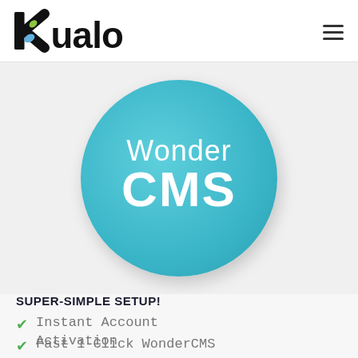kualo
[Figure (logo): WonderCMS teal circle logo with 'Wonder CMS' text in white]
SUPER-SIMPLE SETUP!
Instant Account Activation
Fast 1-Click WonderCMS